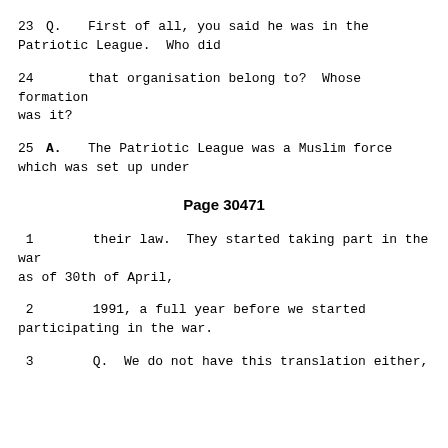23   Q.   First of all, you said he was in the Patriotic League.  Who did
24      that organisation belong to?  Whose formation was it?
25      A.   The Patriotic League was a Muslim force which was set up under
Page 30471
1      their law.  They started taking part in the war as of 30th of April,
2      1991, a full year before we started participating in the war.
3      Q.   We do not have this translation either,